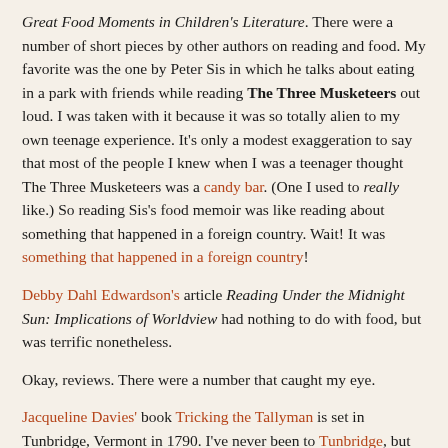Great Food Moments in Children's Literature. There were a number of short pieces by other authors on reading and food. My favorite was the one by Peter Sis in which he talks about eating in a park with friends while reading The Three Musketeers out loud. I was taken with it because it was so totally alien to my own teenage experience. It's only a modest exaggeration to say that most of the people I knew when I was a teenager thought The Three Musketeers was a candy bar. (One I used to really like.) So reading Sis's food memoir was like reading about something that happened in a foreign country. Wait! It was something that happened in a foreign country!
Debby Dahl Edwardson's article Reading Under the Midnight Sun: Implications of Worldview had nothing to do with food, but was terrific nonetheless.
Okay, reviews. There were a number that caught my eye.
Jacqueline Davies' book Tricking the Tallyman is set in Tunbridge, Vermont in 1790. I've never been to Tunbridge, but when I was a young'un the place was famous for its World's Fair, which had a reputation for being a lot of fun. Tricking the Tallyman isn't about